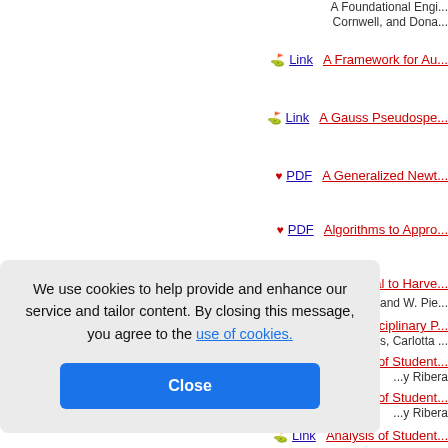A Foundational Engi... Cornwell, and Dona...
Link — A Framework for Au...
Link — A Gauss Pseudospe...
PDF — A Generalized Newt...
PDF — Algorithms to Appro...
Link — A Memorial to Harve... Murphy, and W. Pie...
...isciplinary P... ...es, Carlotta ...
...s of Student... ...y Ribera
...s of Student... ...y Ribera
Link — Analysis of Student...
We use cookies to help provide and enhance our service and tailor content. By closing this message, you agree to the use of cookies.
Close